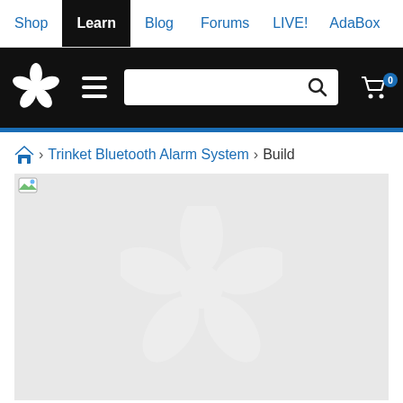Shop | Learn | Blog | Forums | LIVE! | AdaBox
[Figure (logo): Adafruit flower/star logo in white on black header bar, hamburger menu icon, search box, and cart icon with 0 badge]
Home > Trinket Bluetooth Alarm System > Build
[Figure (photo): Large image placeholder with light gray background showing white Adafruit flower/star logo watermark in the center. A broken image icon appears in the top-left corner.]